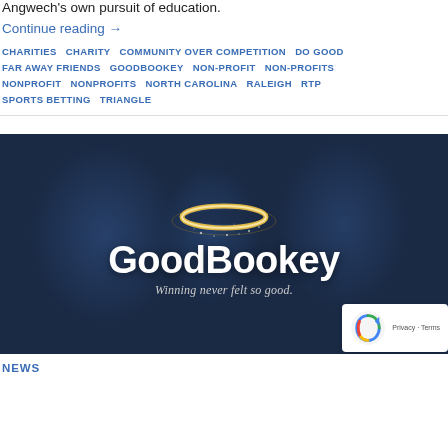Angwech's own pursuit of education.
Continue reading →
CHARITIES  CHARITY  COMMUNITY OVER COMPETITION  DO GOOD  FAR AWAY FRIENDS  GOODBOOKEY  NON-PROFIT  NON-PROFITS  NONPROFIT  NONPROFITS  NORTH CAROLINA  RALEIGH  RTP  SPORTS BETTING  TRIANGLE
[Figure (logo): GoodBookey logo on dark blue background with a glowing golden halo above the text 'GoodBookey' and tagline 'Winning never felt so good.']
NEWS